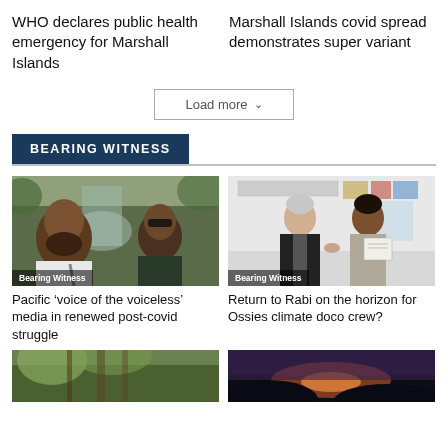WHO declares public health emergency for Marshall Islands
Marshall Islands covid spread demonstrates super variant
Load more
BEARING WITNESS
[Figure (photo): Two men standing outdoors in front of a lush green nature scene with rocks/waterfall. One man wears sunglasses. Label 'Bearing Witness' overlaid at bottom-left.]
[Figure (photo): Two men indoors in an office/room setting. An older man in black jacket shaking hands with a younger man holding a certificate. Label 'Bearing Witness' overlaid at bottom-left.]
Pacific ‘voice of the voiceless’ media in renewed post-covid struggle
Return to Rabi on the horizon for Ossies climate doco crew?
[Figure (photo): Photo strip showing tropical foliage/palm trees scene.]
[Figure (photo): Photo strip showing a sunset or dramatic sky scene.]